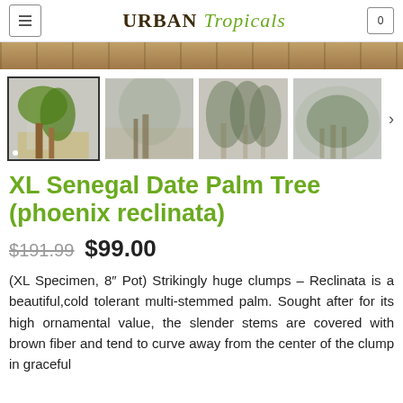URBAN Tropicals
[Figure (photo): Banner image strip showing foliage/tropical plant background]
[Figure (photo): Gallery of four thumbnail images showing Senegal Date Palm trees (phoenix reclinata) in various settings. First thumbnail is active/highlighted.]
XL Senegal Date Palm Tree (phoenix reclinata)
$191.99  $99.00
(XL Specimen, 8″ Pot) Strikingly huge clumps – Reclinata is a beautiful,cold tolerant multi-stemmed palm. Sought after for its high ornamental value, the slender stems are covered with brown fiber and tend to curve away from the center of the clump in graceful